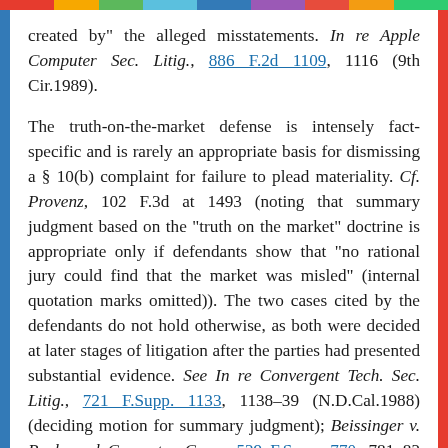created by" the alleged misstatements. In re Apple Computer Sec. Litig., 886 F.2d 1109, 1116 (9th Cir.1989).
The truth-on-the-market defense is intensely fact-specific and is rarely an appropriate basis for dismissing a § 10(b) complaint for failure to plead materiality. Cf. Provenz, 102 F.3d at 1493 (noting that summary judgment based on the "truth on the market" doctrine is appropriate only if defendants show that "no rational jury could find that the market was misled" (internal quotation marks omitted)). The two cases cited by the defendants do not hold otherwise, as both were decided at later stages of litigation after the parties had presented substantial evidence. See In re Convergent Tech. Sec. Litig., 721 F.Supp. 1133, 1138-39 (N.D.Cal.1988) (deciding motion for summary judgment); Beissinger v. Rockwood Computer Corp., 529 F.Supp. 770, 781-82 (E.D.Pa.1981) (deciding post-trial motion for